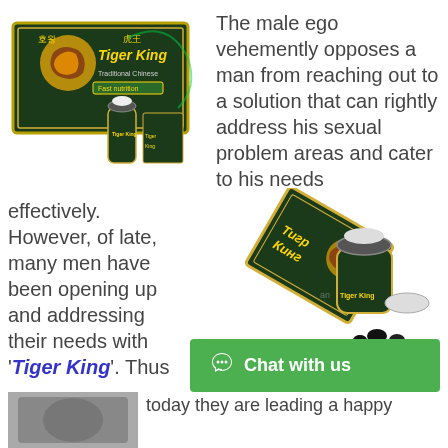[Figure (photo): Tiger King product box and small bottle on display]
The male ego vehemently opposes a man from reaching out to a solution that can rightly address his sexual problem areas and cater to his needs effectively. However, of late, many men have been opening up and addressing their needs with 'Tiger King'. Thus today they are leading a happy
[Figure (photo): Tiger King product box opened with jar and pills]
[Figure (photo): Bottom strip product image thumbnail]
Chat with us